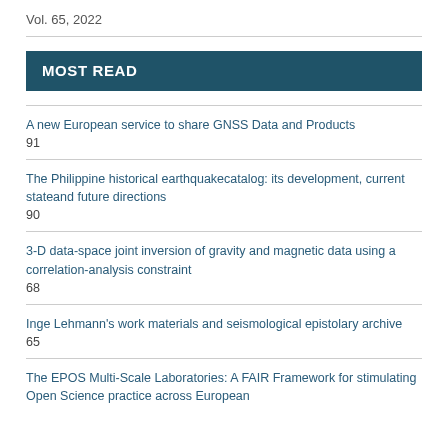Vol. 65, 2022
MOST READ
A new European service to share GNSS Data and Products
91
The Philippine historical earthquakecatalog: its development, current stateand future directions
90
3-D data-space joint inversion of gravity and magnetic data using a correlation-analysis constraint
68
Inge Lehmann's work materials and seismological epistolary archive
65
The EPOS Multi-Scale Laboratories: A FAIR Framework for stimulating Open Science practice across European